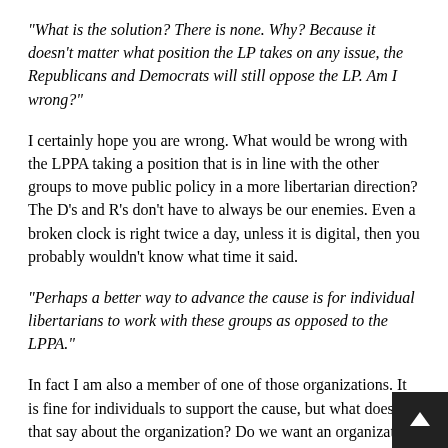“What is the solution? There is none. Why? Because it doesn’t matter what position the LP takes on any issue, the Republicans and Democrats will still oppose the LP. Am I wrong?”
I certainly hope you are wrong. What would be wrong with the LPPA taking a position that is in line with the other groups to move public policy in a more libertarian direction? The D’s and R’s don’t have to always be our enemies. Even a broken clock is right twice a day, unless it is digital, then you probably wouldn’t know what time it said.
“Perhaps a better way to advance the cause is for individual libertarians to work with these groups as opposed to the LPPA.”
In fact I am also a member of one of those organizations. It is fine for individuals to support the cause, but what does that say about the organization? Do we want an organization to help move public policy or not?
“Honestly Mik, somebody out there will always disagree with s